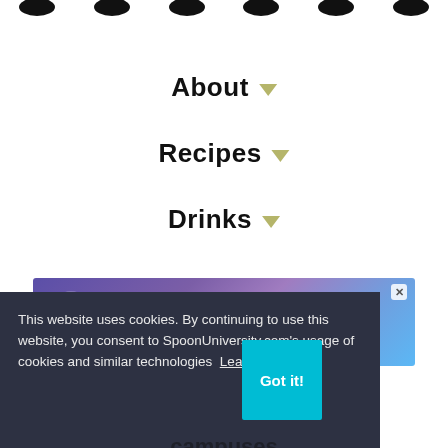[Figure (other): Row of circular social media icon buttons at the top of the page, partially cropped]
About ▼
Recipes ▼
Drinks ▼
[Figure (other): Advertisement banner for Generation Hired: 'Join Generation Hired, your virtual career center.' with logo and close button]
This website uses cookies. By continuing to use this website, you consent to SpoonUniversity.com's usage of cookies and similar technologies Learn more
Got it!